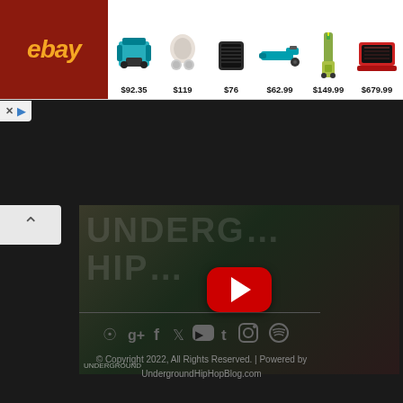[Figure (screenshot): eBay advertisement banner showing products with prices: $92.35 (power tool set), $119 (wireless earbuds), $76 (portable speaker), $62.99 (power tool), $149.99 (vacuum cleaner), $679.99 (gaming laptop)]
[Figure (screenshot): YouTube video thumbnail showing a man holding a microphone with Underground Hip Hop Blog logo overlay and red YouTube play button]
[Figure (infographic): Social media footer icons: RSS, Google+, Facebook, Twitter, YouTube, Tumblr, Instagram, Spotify]
© Copyright 2022, All Rights Reserved. | Powered by UndergroundHipHopBlog.com